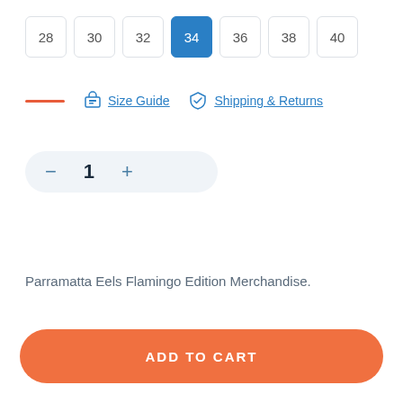28 30 32 34 36 38 40 (size selector, 34 selected)
Size Guide   Shipping & Returns
- 1 + (quantity selector)
Parramatta Eels Flamingo Edition Merchandise.
ADD TO CART